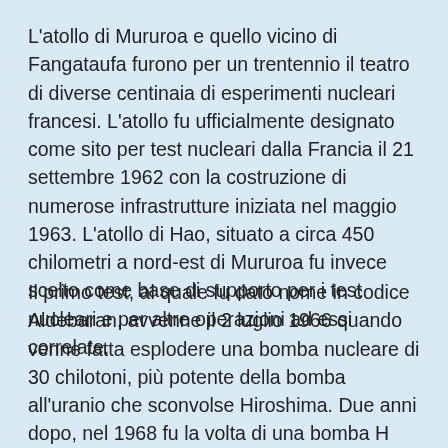L'atollo di Mururoa e quello vicino di Fangataufa furono per un trentennio il teatro di diverse centinaia di esperimenti nucleari francesi. L'atollo fu ufficialmente designato come sito per test nucleari dalla Francia il 21 settembre 1962 con la costruzione di numerose infrastrutture iniziata nel maggio 1963. L'atollo di Hao, situato a circa 450 chilometri a nord-est di Mururoa fu invece scelto come base di supporto per i test nucleari e per altre operazioni ad essi correlate.
Il primo test, al quale fu dato nome in codice Aldebaran, avvenne il 2 luglio 1966 quando venne fatta esplodere una bomba nucleare di 30 chilotoni, più potente della bomba all'uranio che sconvolse Hiroshima. Due anni dopo, nel 1968 fu la volta di una bomba H con potenza di mille chilotoni. Nel 1974 la Francia, a seguito di pesanti pressioni internazionali abbandonò i test atmosferici che avevano caratterizzato il